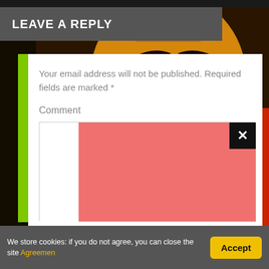[Figure (photo): Background photo of a colorful Indian deity face with ornate makeup and jewelry, dark background]
LEAVE A REPLY
Your email address will not be published. Required fields are marked *
Comment
[Figure (screenshot): Comment text area with red/salmon fill background and a black X close button in top right corner]
We store cookies: if you do not agree, you can close the site Agreemen